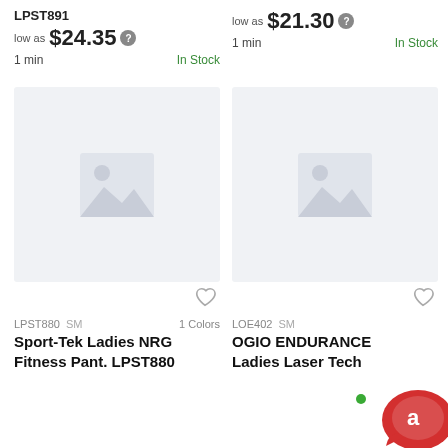LPST891
low as $24.35
1 min   In Stock
low as $21.30
1 min   In Stock
[Figure (photo): Product image placeholder left - Sport-Tek Ladies NRG Fitness Pant LPST880]
[Figure (photo): Product image placeholder right - OGIO ENDURANCE Ladies Laser Tech]
LPST880 SM   1 Colors
Sport-Tek Ladies NRG Fitness Pant. LPST880
LOE402 SM
OGIO ENDURANCE Ladies Laser Tech